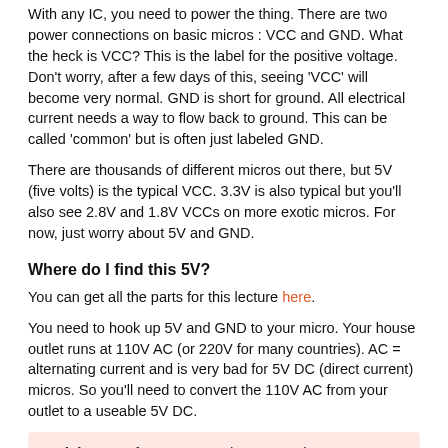With any IC, you need to power the thing. There are two power connections on basic micros : VCC and GND. What the heck is VCC? This is the label for the positive voltage. Don't worry, after a few days of this, seeing 'VCC' will become very normal. GND is short for ground. All electrical current needs a way to flow back to ground. This can be called 'common' but is often just labeled GND.
There are thousands of different micros out there, but 5V (five volts) is the typical VCC. 3.3V is also typical but you'll also see 2.8V and 1.8V VCCs on more exotic micros. For now, just worry about 5V and GND.
Where do I find this 5V?
You can get all the parts for this lecture here.
You need to hook up 5V and GND to your micro. Your house outlet runs at 110V AC (or 220V for many countries). AC = alternating current and is very bad for 5V DC (direct current) micros. So you'll need to convert the 110V AC from your outlet to a useable 5V DC.
Quick note: If you reverse the connection on your micro - bad things happen. Always make sure your 5V power supply is connected correctly.